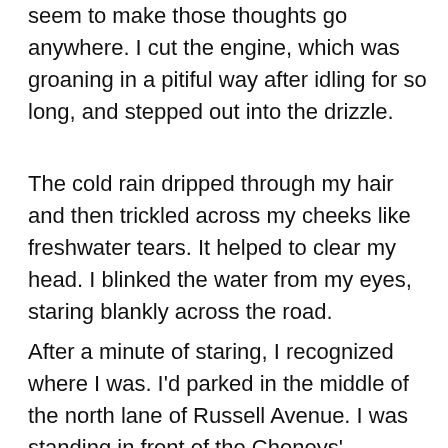seem to make those thoughts go anywhere. I cut the engine, which was groaning in a pitiful way after idling for so long, and stepped out into the drizzle.
The cold rain dripped through my hair and then trickled across my cheeks like freshwater tears. It helped to clear my head. I blinked the water from my eyes, staring blankly across the road.
After a minute of staring, I recognized where I was. I'd parked in the middle of the north lane of Russell Avenue. I was standing in front of the Cheneys' house��my truck was